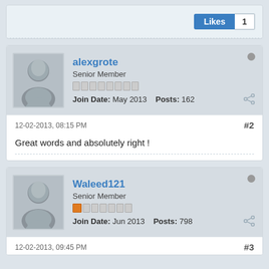[Figure (other): Top post card with Likes button showing count 1]
Likes 1
[Figure (other): User profile header for alexgrote, Senior Member, Join Date: May 2013, Posts: 162]
alexgrote
Senior Member
Join Date: May 2013   Posts: 162
12-02-2013, 08:15 PM
#2
Great words and absolutely right !
[Figure (other): User profile header for Waleed121, Senior Member, Join Date: Jun 2013, Posts: 798]
Waleed121
Senior Member
Join Date: Jun 2013   Posts: 798
12-02-2013, 09:45 PM
#3